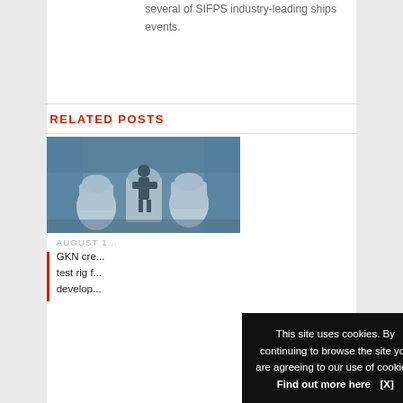several of SIFPS industry-leading ships events.
RELATED POSTS
[Figure (photo): Industrial workshop scene showing a worker leaning over machinery equipment in a blue-tinted manufacturing environment]
AUGUST 1...
GKN cre... test rig f... develop...
This site uses cookies. By continuing to browse the site you are agreeing to our use of cookies. Find out more here   [X]